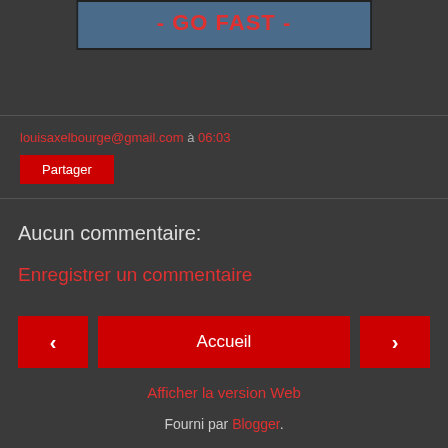[Figure (screenshot): Blue banner with red bold text '- GO FAST -']
louisaxelbourge@gmail.com à 06:03
Partager
Aucun commentaire:
Enregistrer un commentaire
‹
Accueil
›
Afficher la version Web
Fourni par Blogger.